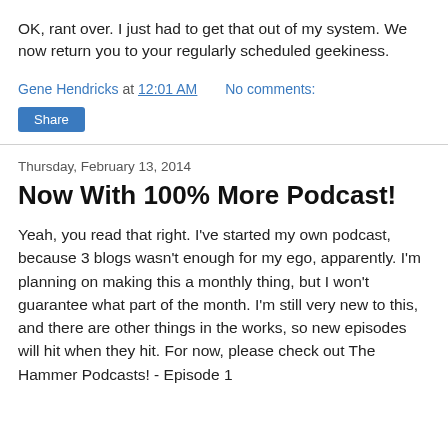OK, rant over.  I just had to get that out of my system.  We now return you to your regularly scheduled geekiness.
Gene Hendricks at 12:01 AM   No comments:
Share
Thursday, February 13, 2014
Now With 100% More Podcast!
Yeah, you read that right.  I've started my own podcast, because 3 blogs wasn't enough for my ego, apparently.  I'm planning on making this a monthly thing, but I won't guarantee what part of the month.  I'm still very new to this, and there are other things in the works, so new episodes will hit when they hit.  For now, please check out The Hammer Podcasts! - Episode 1